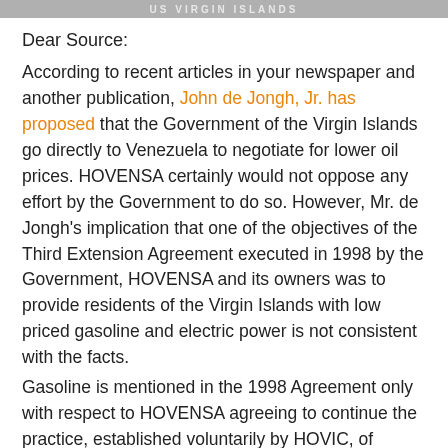US VIRGIN ISLANDS
Dear Source:
According to recent articles in your newspaper and another publication, John de Jongh, Jr. has proposed that the Government of the Virgin Islands go directly to Venezuela to negotiate for lower oil prices. HOVENSA certainly would not oppose any effort by the Government to do so. However, Mr. de Jongh's implication that one of the objectives of the Third Extension Agreement executed in 1998 by the Government, HOVENSA and its owners was to provide residents of the Virgin Islands with low priced gasoline and electric power is not consistent with the facts.
Gasoline is mentioned in the 1998 Agreement only with respect to HOVENSA agreeing to continue the practice, established voluntarily by HOVIC, of selling gasoline directly to the Department of Property and Procurement.
Notwithstanding the fact that it was never an objective of the Agreement, the presence of the HOVENSA refinery on St.